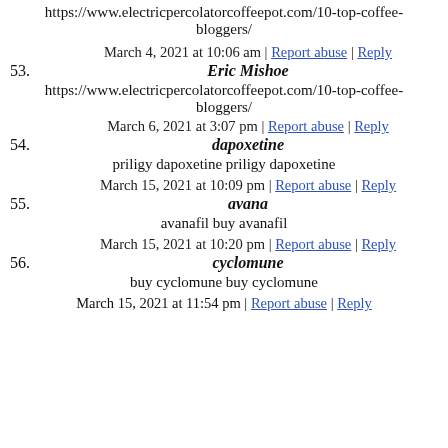https://www.electricpercolatorcoffeepot.com/10-top-coffee-bloggers/
53. March 4, 2021 at 10:06 am | Report abuse | Reply
Eric Mishoe
https://www.electricpercolatorcoffeepot.com/10-top-coffee-bloggers/
54. March 6, 2021 at 3:07 pm | Report abuse | Reply
dapoxetine
priligy dapoxetine priligy dapoxetine
55. March 15, 2021 at 10:09 pm | Report abuse | Reply
avana
avanafil buy avanafil
56. March 15, 2021 at 10:20 pm | Report abuse | Reply
cyclomune
buy cyclomune buy cyclomune
March 15, 2021 at 11:54 pm | Report abuse | Reply